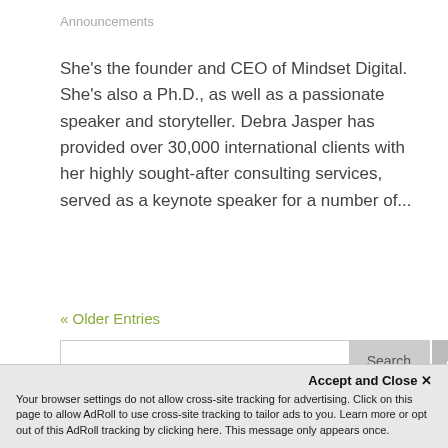Announcements
She's the founder and CEO of Mindset Digital. She's also a Ph.D., as well as a passionate speaker and storyteller. Debra Jasper has provided over 30,000 international clients with her highly sought-after consulting services, served as a keynote speaker for a number of...
« Older Entries
Recent Posts
Accept and Close ✕
Your browser settings do not allow cross-site tracking for advertising. Click on this page to allow AdRoll to use cross-site tracking to tailor ads to you. Learn more or opt out of this AdRoll tracking by clicking here. This message only appears once.